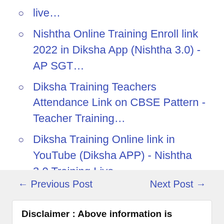live…
Nishtha Online Training Enroll link 2022 in Diksha App (Nishtha 3.0) - AP SGT…
Diksha Training Teachers Attendance Link on CBSE Pattern - Teacher Training…
Diksha Training Online link in YouTube (Diksha APP) - Nishtha 3.0 Training Live…
← Previous Post
Next Post →
Disclaimer : Above information is published for